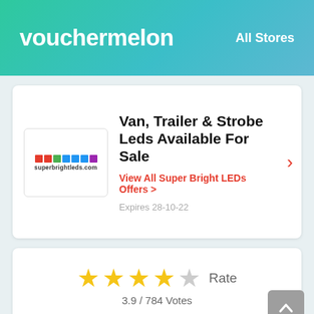vouchermelon   All Stores
Van, Trailer & Strobe Leds Available For Sale
View All Super Bright LEDs Offers >
Expires 28-10-22
[Figure (logo): Super Bright LEDs store logo with colored blocks]
3.9 / 784 Votes
How to use a Thomas Sabo Voucher Code?